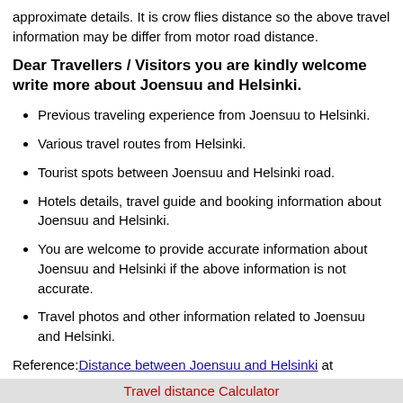approximate details. It is crow flies distance so the above travel information may be differ from motor road distance.
Dear Travellers / Visitors you are kindly welcome write more about Joensuu and Helsinki.
Previous traveling experience from Joensuu to Helsinki.
Various travel routes from Helsinki.
Tourist spots between Joensuu and Helsinki road.
Hotels details, travel guide and booking information about Joensuu and Helsinki.
You are welcome to provide accurate information about Joensuu and Helsinki if the above information is not accurate.
Travel photos and other information related to Joensuu and Helsinki.
Reference: Distance between Joensuu and Helsinki at http://distancebetween2.com
Travel distance Calculator